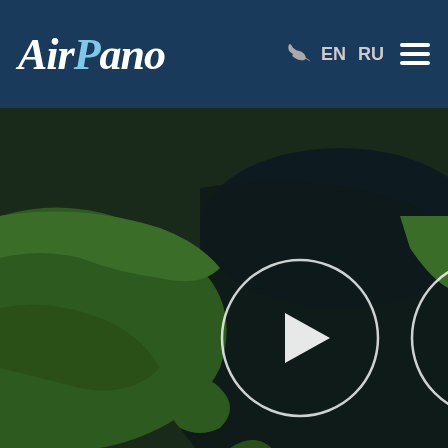AirPano — EN RU
[Figure (photo): Aerial view of forested landscape with dark water/lake, play button circle and info button circle overlaid on image. Text overlay in Russian at bottom.]
[Figure (logo): 360 degree panorama badge icon — green circle with camera/panorama icon and '360°' text]